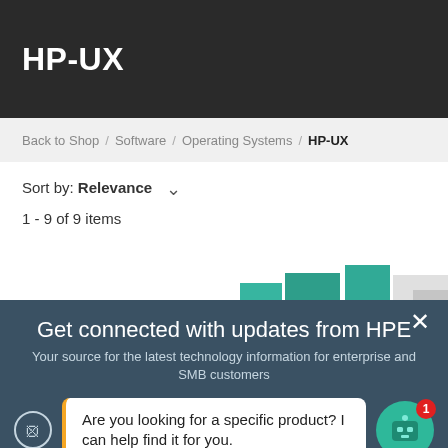HP-UX
Back to Shop / Software / Operating Systems / HP-UX
Sort by: Relevance ∨
1 - 9 of 9 items
[Figure (screenshot): Partial product images — teal and grey product box illustrations]
Get connected with updates from HPE
Your source for the latest technology information for enterprise and SMB customers
Are you looking for a specific product? I can help find it for you.